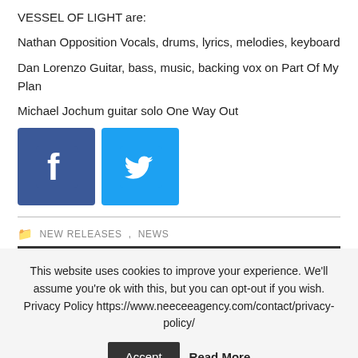VESSEL OF LIGHT are:
Nathan Opposition Vocals, drums, lyrics, melodies, keyboard
Dan Lorenzo Guitar, bass, music, backing vox on Part Of My Plan
Michael Jochum guitar solo One Way Out
[Figure (logo): Facebook and Twitter social media icon buttons]
NEW RELEASES, NEWS
This website uses cookies to improve your experience. We'll assume you're ok with this, but you can opt-out if you wish. Privacy Policy https://www.neeceeagency.com/contact/privacy-policy/
Accept
Read More